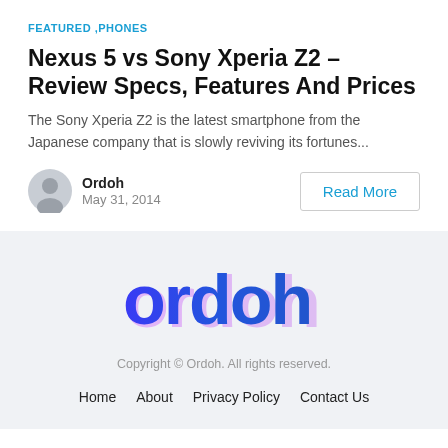FEATURED ,PHONES
Nexus 5 vs Sony Xperia Z2 – Review Specs, Features And Prices
The Sony Xperia Z2 is the latest smartphone from the Japanese company that is slowly reviving its fortunes...
Ordoh
May 31, 2014
Read More
[Figure (logo): Ordoh logo in blue and purple gradient stylized text]
Copyright © Ordoh. All rights reserved.
Home   About   Privacy Policy   Contact Us